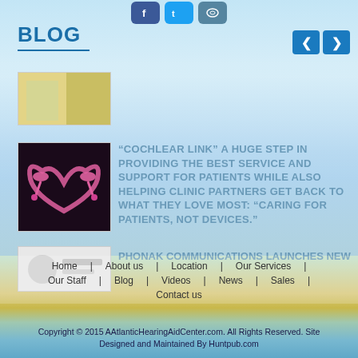[Figure (illustration): Social media icons: Facebook (blue), Twitter (light blue), Pinterest/eye (teal)]
BLOG
[Figure (photo): Top blog thumbnail: person with hearing aid or similar, yellow/green tones]
[Figure (photo): Cochlear hearing devices arranged in heart shape, pink/magenta color on dark background]
“COCHLEAR LINK” A HUGE STEP IN PROVIDING THE BEST SERVICE AND SUPPORT FOR PATIENTS WHILE ALSO HELPING CLINIC PARTNERS GET BACK TO WHAT THEY LOVE MOST: “CARING FOR PATIENTS, NOT DEVICES.”
[Figure (photo): Bottom blog thumbnail: white/light image, partially visible]
PHONAK COMMUNICATIONS LAUNCHES NEW
Home | About us | Location | Our Services | Our Staff | Blog | Videos | News | Sales | Contact us
Copyright © 2015 AAtlanticHearingAidCenter.com. All Rights Reserved. Site Designed and Maintained By Huntpub.com